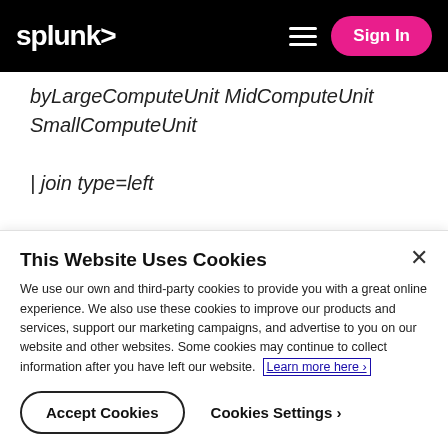splunk> [hamburger menu] Sign In
byLargeComputeUnit MidComputeUnit SmallComputeUnit

| join type=left

[| inputlookup my_lookup
| stats
dc(eval(if(NodeType="A",NodeID,null()))) as
This Website Uses Cookies
We use our own and third-party cookies to provide you with a great online experience. We also use these cookies to improve our products and services, support our marketing campaigns, and advertise to you on our website and other websites. Some cookies may continue to collect information after you have left our website. Learn more here ›
Accept Cookies
Cookies Settings ›